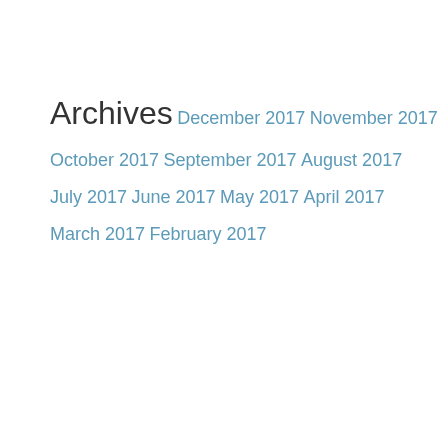Archives
December 2017
November 2017
October 2017
September 2017
August 2017
July 2017
June 2017
May 2017
April 2017
March 2017
February 2017